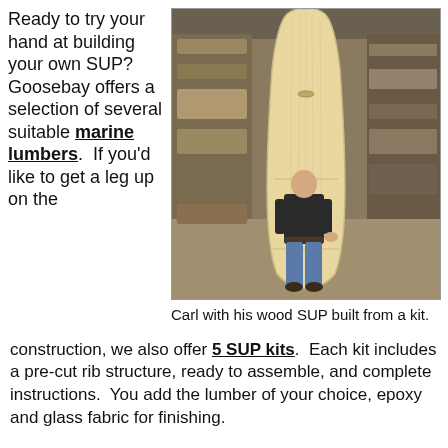Ready to try your hand at building your own SUP? Goosebay offers a selection of several suitable marine lumbers.  If you'd like to get a leg up on the
[Figure (photo): Carl standing next to a tall wooden SUP (stand-up paddleboard) he built from a kit, inside a lumber warehouse with shelves of wood visible in the background.]
Carl with his wood SUP built from a kit.
construction, we also offer 5 SUP kits.  Each kit includes a pre-cut rib structure, ready to assemble, and complete instructions.  You add the lumber of your choice, epoxy and glass fabric for finishing.